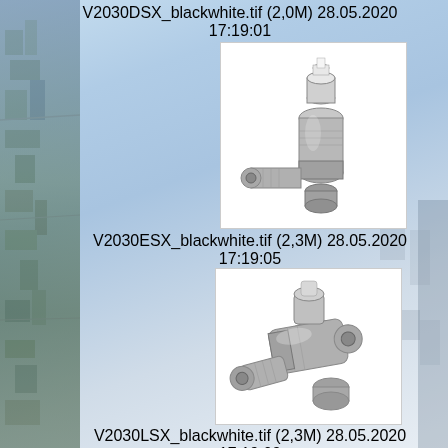V2030DSX_blackwhite.tif (2,0M)
28.05.2020 17:19:01
[Figure (photo): Photo of a straight radiator valve, chrome/nickel finish, angled design with threaded fittings]
V2030ESX_blackwhite.tif (2,3M)
28.05.2020 17:19:05
[Figure (photo): Photo of an angled radiator valve, chrome/nickel finish, compact body with threaded connections]
V2030LSX_blackwhite.tif (2,3M)
28.05.2020 17:19:09